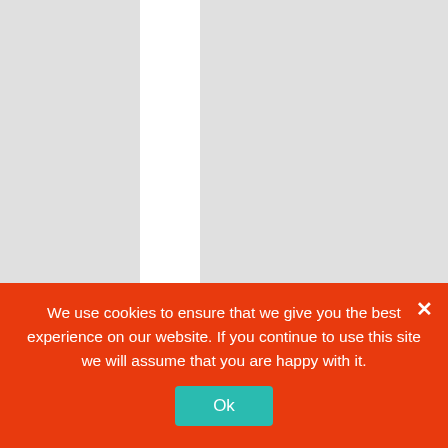No I don't have a real plc to try and personally I just use DB and map everything to DB.
You better contact the authors at this address to ask for clarifications:
https://sourcef
We use cookies to ensure that we give you the best experience on our website. If you continue to use this site we will assume that you are happy with it.